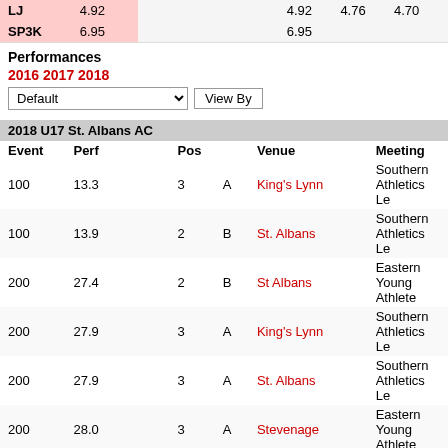| Event | Perf |  |  |  |  |  |
| --- | --- | --- | --- | --- | --- | --- |
| LJ | 4.92 |  |  | 4.92 | 4.76 | 4.70 |
| SP3K | 6.95 |  |  | 6.95 |  |  |
Performances
2016 2017 2018
| Event | Perf |  | Pos |  | Venue | Meeting |
| --- | --- | --- | --- | --- | --- | --- |
| 100 | 13.3 |  | 3 | A | King's Lynn | Southern Athletics Le... |
| 100 | 13.9 |  | 2 | B | St. Albans | Southern Athletics Le... |
| 200 | 27.4 |  | 2 | B | St Albans | Eastern Young Athlete... |
| 200 | 27.9 |  | 3 | A | King's Lynn | Southern Athletics Le... |
| 200 | 27.9 |  | 3 | A | St. Albans | Southern Athletics Le... |
| 200 | 28.0 |  | 3 | A | Stevenage | Eastern Young Athlete... |
| LJ | 4.92 |  | 2 | A | St Albans | Eastern Young Athlete... |
| LJ | 4.88 |  | 4 | A | King's Lynn | Southern Athletics Le... |
| LJ | 4.71 |  | 3 | A | Stevenage | Eastern Young Athlete... |
| LJ | 4.63 |  | 4 | A | St. Albans | Southern Athletics Le... |
| SP3K | 6.95 |  | 2 | B | St Albans | Eastern Young Athlete... |
| Event | Perf |  | Pos |  | Venue | Meeting |
| --- | --- | --- | --- | --- | --- | --- |
| 100 | 13.1 |  | 1 | A | Watford | Sweatshop Southern... |
| 100 | 13.17 | 0.3 | 2 | B | Hendon | Eastern Young Athlete... |
| 200 | 26.4 |  | 2 | A | Watford | Sweatshop Southern... |